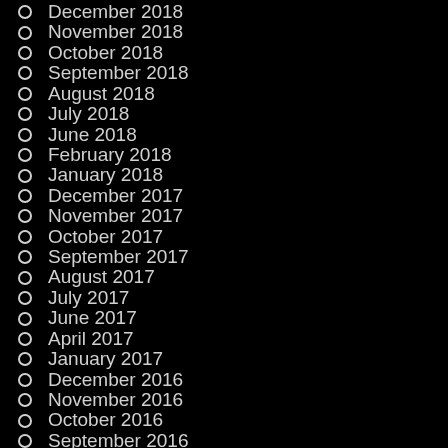December 2018
November 2018
October 2018
September 2018
August 2018
July 2018
June 2018
February 2018
January 2018
December 2017
November 2017
October 2017
September 2017
August 2017
July 2017
June 2017
April 2017
January 2017
December 2016
November 2016
October 2016
September 2016